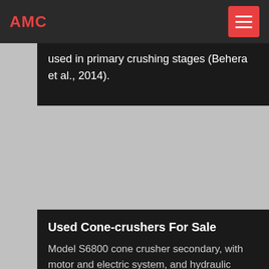AMC
used in primary crushing stages (Behera et al., 2014).
Used Cone-crushers For Sale
Model S6800 cone crusher secondary, with motor and electric system, and hydraulic system. Manufacturer: . Inventory ID: 3C-SQ02. View Details. Size: S6800: Model : S6800: ... KUE KEN Size 28CT Gyratory Cone Crusher, 1100 RPM. Inventory ID: 3K-MH05. KUE KEN Size 28CT Gyratory Cone Crusher, 1100 RPM. Manufacturer: KUE KEN ...